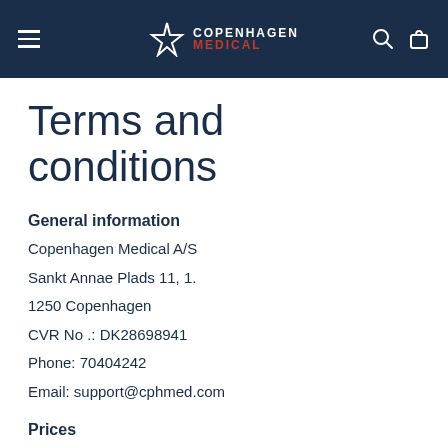Copenhagen Medical
Terms and conditions
General information
Copenhagen Medical A/S
Sankt Annae Plads 11, 1.
1250 Copenhagen
CVR No.: DK28698941
Phone: 70404242
Email: support@cphmed.com
Prices
At Copenhagen Medical A / S, all prices are in Danish kroner and stated incl. VAT and taxes. We reserve the right to change